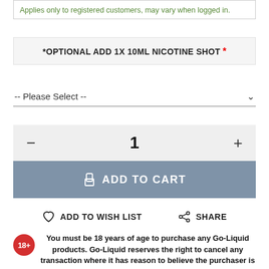Applies only to registered customers, may vary when logged in.
*OPTIONAL ADD 1X 10ML NICOTINE SHOT *
-- Please Select --
1
ADD TO CART
ADD TO WISH LIST   SHARE
18+ You must be 18 years of age to purchase any Go-Liquid products. Go-Liquid reserves the right to cancel any transaction where it has reason to believe the purchaser is either below the required legal age or is